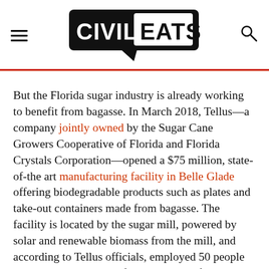Civil Eats [logo with hamburger menu and search icon]
But the Florida sugar industry is already working to benefit from bagasse. In March 2018, Tellus—a company jointly owned by the Sugar Cane Growers Cooperative of Florida and Florida Crystals Corporation—opened a $75 million, state-of-the art manufacturing facility in Belle Glade offering biodegradable products such as plates and take-out containers made from bagasse. The facility is located by the sugar mill, powered by solar and renewable biomass from the mill, and according to Tellus officials, employed 50 people at launch, with a goal of hiring a total of 100 employees, 90 percent of